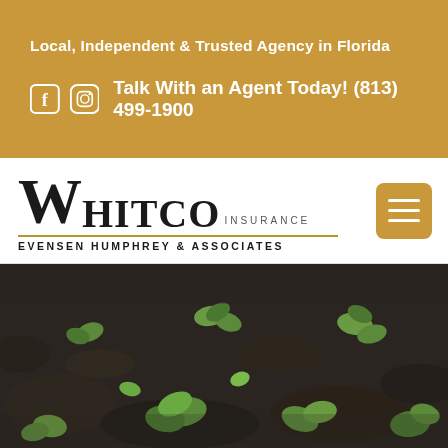Local, Independent & Trusted Agency in Florida
Talk With an Agent Today! (813) 499-1900
[Figure (logo): WhitCo Insurance Evensen Humphrey & Associates logo with hamburger menu button]
[Figure (photo): Close-up photo of small green sprouts/seedlings growing from dark soil]